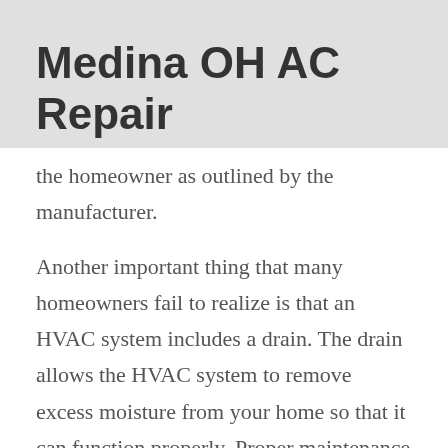Medina OH AC Repair
the homeowner as outlined by the manufacturer.
Another important thing that many homeowners fail to realize is that an HVAC system includes a drain. The drain allows the HVAC system to remove excess moisture from your home so that it can function properly. Proper maintenance is the key to keeping drains clear. As the homeowner maintains their HVAC system, they should check the drain occasionally for blockage. If the drain is